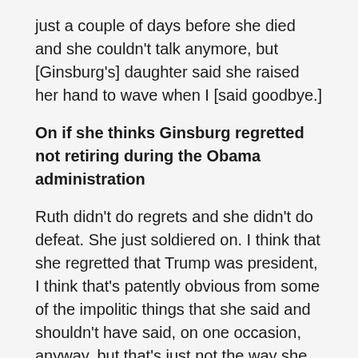just a couple of days before she died and she couldn't talk anymore, but [Ginsburg's] daughter said she raised her hand to wave when I [said goodbye.]
On if she thinks Ginsburg regretted not retiring during the Obama administration
Ruth didn't do regrets and she didn't do defeat. She just soldiered on. I think that she regretted that Trump was president, I think that's patently obvious from some of the impolitic things that she said and shouldn't have said, on one occasion, anyway, but that's just not the way she operated. She operated to live and to get her work done, and she did that almost until the day she died. Not quite, but I'd say, within weeks. I don't think she even acknowledged the possibility of really dying before a new president — whether it would be Trump or Biden — was sworn in. I don't think she really acknowledged that